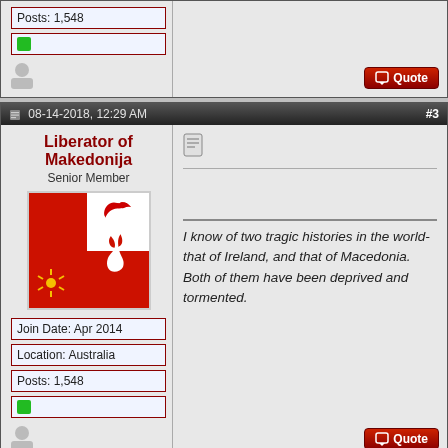Posts: 1,548
● (green online indicator)
08-14-2018, 12:29 AM  #3
Liberator of Makedonija
Senior Member
[Figure (illustration): Flag with red and white sections with a horse silhouette]
Join Date: Apr 2014
Location: Australia
Posts: 1,548
● (green online indicator)
I know of two tragic histories in the world- that of Ireland, and that of Macedonia. Both of them have been deprived and tormented.
08-14-2018, 12:34 AM  #4
Liberator of